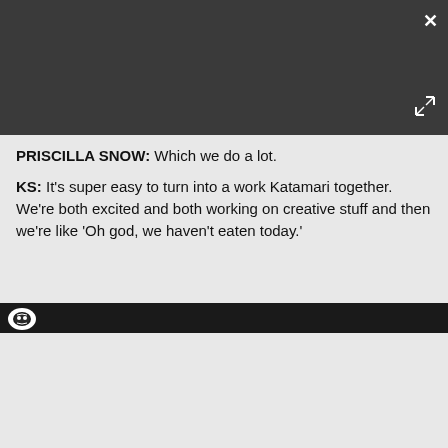[Figure (screenshot): Video player showing error message 'This video file cannot be played. (Error Code: 224003)' with BATTLI and SIN'S ED branding on dark background. Play Sound button and close/expand controls visible.]
PRISCILLA SNOW: Which we do a lot.
KS: It's super easy to turn into a work Katamari together. We're both excited and both working on creative stuff and then we're like 'Oh god, we haven't eaten today.'
[Figure (screenshot): Partial video thumbnail showing white owl/bird logo on dark background]
[Figure (screenshot): Advertisement for 'Call of the Wild: the ANGLER' game. Available now on PC. Shows game logo and screenshot of a vehicle on a dirt road with canyon landscape.]